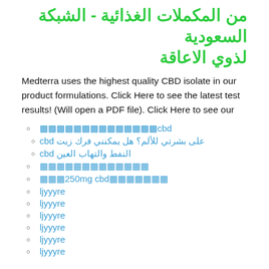من المكملات الغذائية - الشبكة السعودية لذوي الاعاقة
Medterra uses the highest quality CBD isolate in our product formulations. Click Here to see the latest test results! (Will open a PDF file). Click Here to see our
cbd🟩🟩🟩🟩🟩🟩🟩🟩🟩🟩🟩🟩🟩
على بشرتي للألم؟ هل يمكنني فرك زيت cbd
النفط والتهاب العين cbd
🟦🟦🟦🟦🟦🟦🟦🟦🟦🟦🟦🟦🟦
🟦🟦🟦🟦🟦🟦🟦250mg cbd🟦🟦🟦
ljyyyre
ljyyyre
ljyyyre
ljyyyre
ljyyyre
ljyyyre